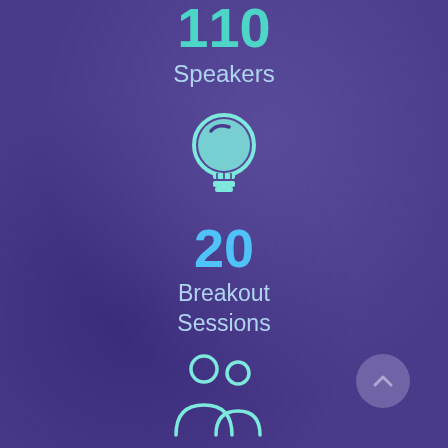110
Speakers
[Figure (illustration): Light bulb icon in teal/mint color]
20
Breakout Sessions
[Figure (illustration): Two people/registrants icon in teal/mint color outline style]
600
Registrants